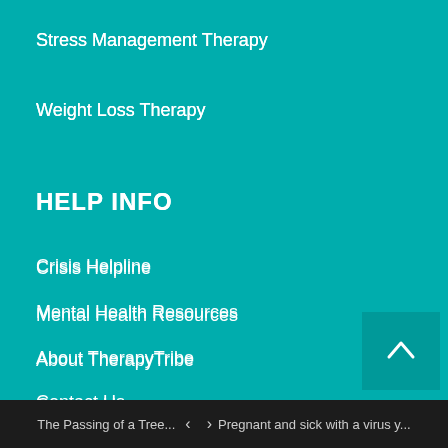Stress Management Therapy
Weight Loss Therapy
HELP INFO
Crisis Helpline
Mental Health Resources
About TherapyTribe
Contact Us
Terms of Use
Sitemap
The Passing of a Tree...   <   >   Pregnant and sick with a virus y...